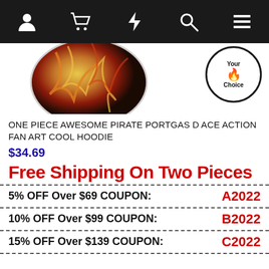Navigation bar with account, cart, flash, search, menu icons
[Figure (photo): Product image showing One Piece anime hoodie with circular product photo and 'Your Choice' badge]
ONE PIECE AWESOME PIRATE PORTGAS D ACE ACTION FAN ART COOL HOODIE
$34.69
Free Shipping On Two Pieces
5% OFF Over $69   COUPON: A2022
10% OFF Over $99  COUPON: B2022
15% OFF Over $139 COUPON: C2022